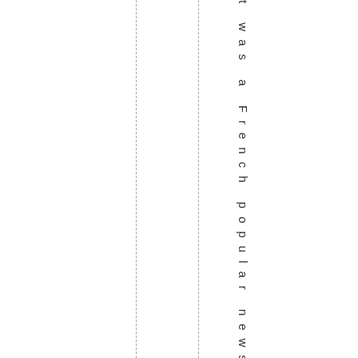t was a French popular newspaper
[Figure (other): Page layout with two vertical dashed lines dividing the page into columns]